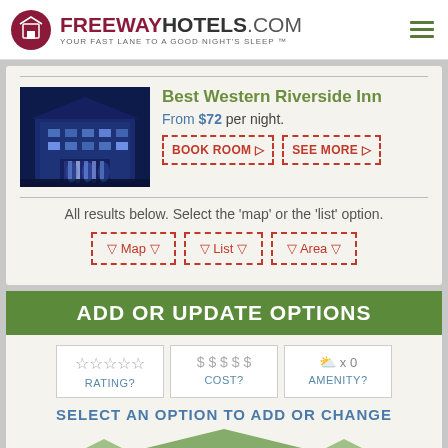FREEWAYHOTELS.COM YOUR FAST LANE TO A GOOD NIGHT'S SLEEP™
[Figure (photo): Best Western Riverside Inn hotel exterior at night with blue lighting]
Best Western Riverside Inn
From $72 per night.
BOOK ROOM ▷  SEE MORE ▷
All results below. Select the 'map' or the 'list' option.
▽ Map ▽  ▽ List ▽  ▽ Area ▽
ADD OR UPDATE OPTIONS
RATING?  COST?  AMENITY? x 0
SELECT AN OPTION TO ADD OR CHANGE